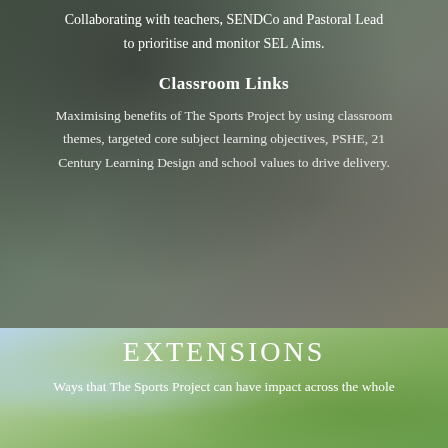Collaborating with teachers, SENDCo and Pastoral Lead to prioritise and monitor SEL Aims.
Classroom Links
Maximising benefits of The Sports Project by using classroom themes, targeted core subject learning objectives, PSHE, 21 Century Learning Design and school values to drive delivery.
[Figure (photo): Photo of a person's legs and Nike trainers on a dark asphalt surface, viewed from above]
[Figure (photo): Photo of trees with green foliage against a blue sky]
EXTENSIONS
Ways that The Sports Project can have impact across the whole